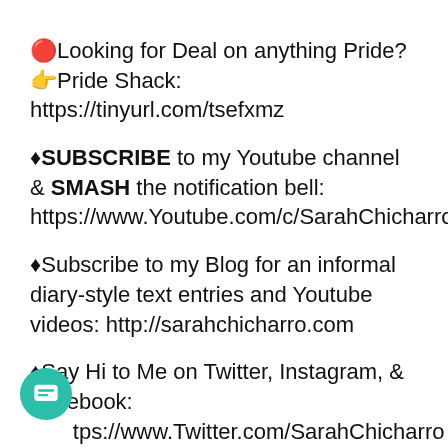🔴Looking for Deal on anything Pride? 👉Pride Shack: https://tinyurl.com/tsefxmz
♦SUBSCRIBE to my Youtube channel & SMASH the notification bell: https://www.Youtube.com/c/SarahChicharro
♦Subscribe to my Blog for an informal diary-style text entries and Youtube videos: http://sarahchicharro.com
♦Say Hi to Me on Twitter, Instagram, & Facebook: https://www.Twitter.com/SarahChicharro https://www.Instagram.com/SarahChicharro